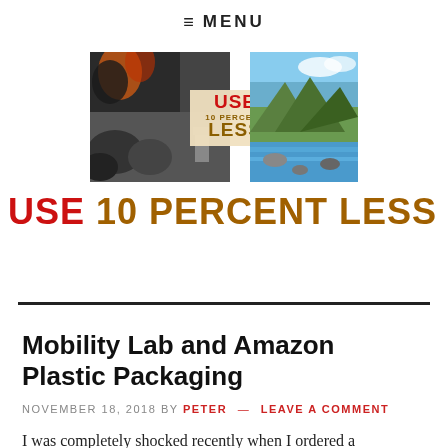≡ MENU
[Figure (logo): USE 10 PERCENT LESS website logo banner showing fire/explosion, coal/industrial imagery on left, mountain river/nature scenery on right, with red and brown 'USE 10 PERCENT LESS' text overlay in center]
USE 10 PERCENT LESS
Mobility Lab and Amazon Plastic Packaging
NOVEMBER 18, 2018 BY PETER — LEAVE A COMMENT
I was completely shocked recently when I ordered a